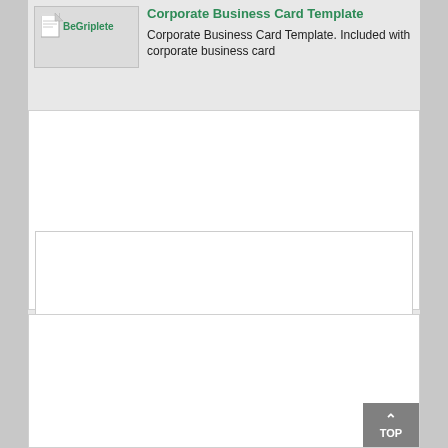[Figure (screenshot): Thumbnail image placeholder showing a document icon with 'BeGriplete' text overlay in green, on a light gray background]
Corporate Business Card Template
Corporate Business Card Template. Included with corporate business card
[Figure (other): Large white empty box area (content placeholder), first box]
[Figure (other): Large white empty box area (content placeholder), second box]
[Figure (other): Gray TOP button with upward arrow in lower right corner]